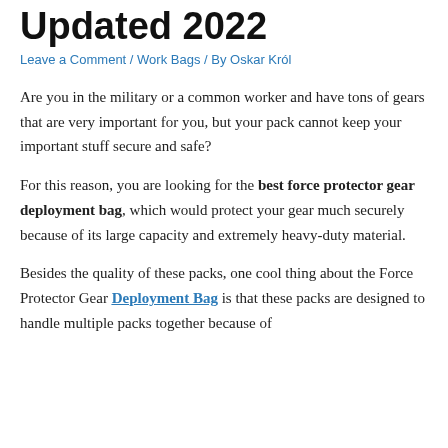Updated 2022
Leave a Comment / Work Bags / By Oskar Król
Are you in the military or a common worker and have tons of gears that are very important for you, but your pack cannot keep your important stuff secure and safe?
For this reason, you are looking for the best force protector gear deployment bag, which would protect your gear much securely because of its large capacity and extremely heavy-duty material.
Besides the quality of these packs, one cool thing about the Force Protector Gear Deployment Bag is that these packs are designed to handle multiple packs together because of their useful buckle system...